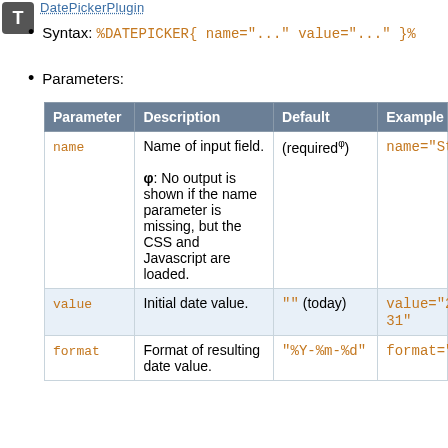DatePickerPlugin
Syntax: %DATEPICKER{ name="..." value="..." }%
Parameters:
| Parameter | Description | Default | Example |
| --- | --- | --- | --- |
| name | Name of input field. φ: No output is shown if the name parameter is missing, but the CSS and Javascript are loaded. | (requiredφ) | name="Start |
| value | Initial date value. | "" (today) | value="2012...
31" |
| format | Format of resulting date value. | "%Y-%m-%d" | format="%e |